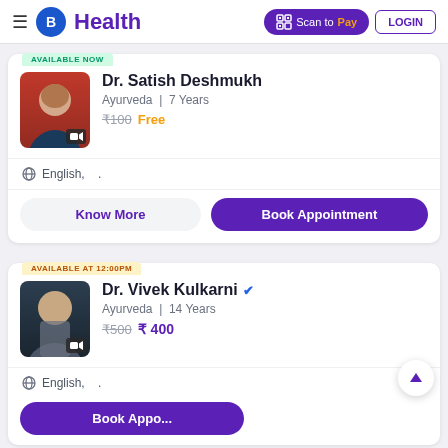B Health | Scan to Pay | LOGIN
AVAILABLE NOW
Dr. Satish Deshmukh
Ayurveda | 7 Years
₹100 Free
English, .
Know More | Book Appointment
AVAILABLE AT 12:00PM
Dr. Vivek Kulkarni ✓
Ayurveda | 14 Years
₹500 ₹ 400
English, .